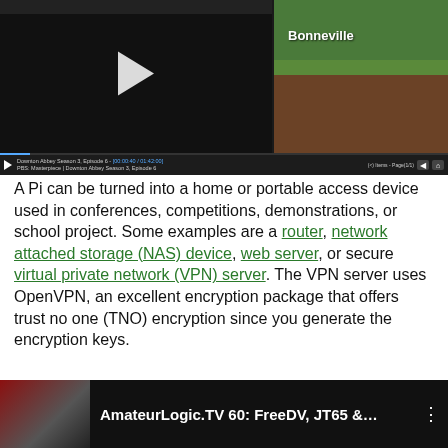[Figure (screenshot): A media player screenshot showing two video panels side by side: left panel (dark/dark nature scene with a white play button triangle), right panel (outdoor scene with text 'Bonneville' and green foliage). Below the videos is a dark control bar with playback info: 'Downton Abbey Season 3, Episode 6 - [00:00:40 / 01:42:00]' and 'PBS: Masterpiece | Downton Abbey Season 3, Episode 6', along with navigation controls.]
A Pi can be turned into a home or portable access device used in conferences, competitions, demonstrations, or school project. Some examples are a router, network attached storage (NAS) device, web server, or secure virtual private network (VPN) server. The VPN server uses OpenVPN, an excellent encryption package that offers trust no one (TNO) encryption since you generate the encryption keys.
[Figure (screenshot): A video thumbnail/player showing 'AmateurLogic.TV 60: FreeDV, JT65 &...' with a red thumbnail image on the left showing people in a studio, and a three-dot menu icon on the right.]